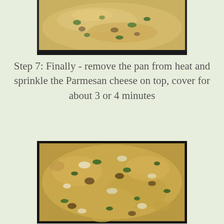[Figure (photo): Top portion of a pan with creamy pasta dish with green herbs visible, partially cropped]
Step 7:  Finally - remove the pan from heat and sprinkle the Parmesan cheese on top, cover for about 3 or 4 minutes
[Figure (photo): Close-up photo of a pan with scrambled egg-style pasta dish with green herbs (parsley) and mushrooms, covered with grated Parmesan cheese]